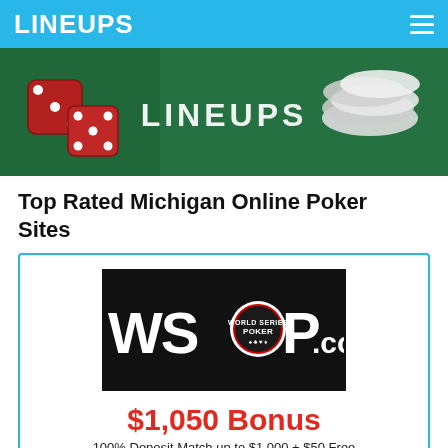LINEUPS
[Figure (photo): Hero banner image showing a green felt casino table with red dice on the left and poker chips on the right, with the text LINEUPS overlaid in white.]
Top Rated Michigan Online Poker Sites
[Figure (logo): WSOP.com logo on a black background — large white text reading WS(poker chip)P.com]
$1,050 Bonus
100% Deposit Match up to $1,000 + $50 Free